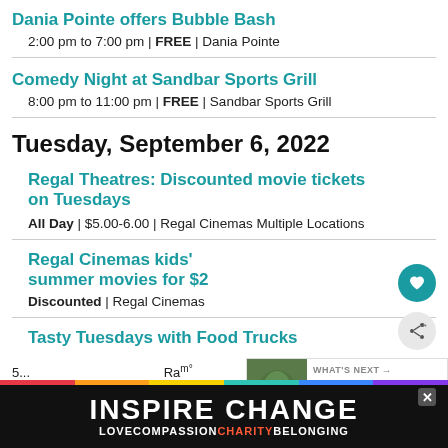Dania Pointe offers Bubble Bash
2:00 pm to 7:00 pm | FREE | Dania Pointe
Comedy Night at Sandbar Sports Grill
8:00 pm to 11:00 pm | FREE | Sandbar Sports Grill
Tuesday, September 6, 2022
Regal Theatres: Discounted movie tickets on Tuesdays
All Day | $5.00-6.00 | Regal Cinemas Multiple Locations
Regal Cinemas kids' summer movies for $2
Discounted | Regal Cinemas
Tasty Tuesdays with Food Trucks
[Figure (infographic): INSPIRE CHANGE advertisement banner with rainbow text on black background, sub-text LOVE COMPASSION CHARITY BELONGING, with close X button]
[Figure (infographic): What's Next promotional box with circular photo and text: Family films, free admissi...]